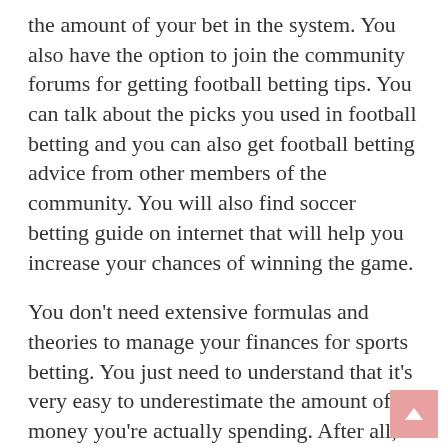the amount of your bet in the system. You also have the option to join the community forums for getting football betting tips. You can talk about the picks you used in football betting and you can also get football betting advice from other members of the community. You will also find soccer betting guide on internet that will help you increase your chances of winning the game.
You don't need extensive formulas and theories to manage your finances for sports betting. You just need to understand that it's very easy to underestimate the amount of money you're actually spending. After all, the idea is to make a profit, not create a huge loss.